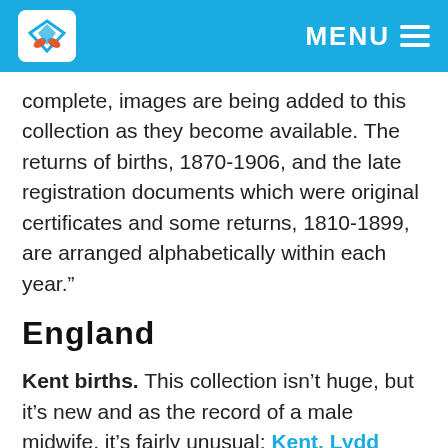MENU
complete, images are being added to this collection as they become available. The returns of births, 1870-1906, and the late registration documents which were original certificates and some returns, 1810-1899, are arranged alphabetically within each year.”
England
Kent births. This collection isn’t huge, but it’s new and as the record of a male midwife, it’s fairly unusual: Kent, Lydd Midwife’s Birth Register 1757-1815. The site states, “The collection contains over 2,400 records transcribed from the